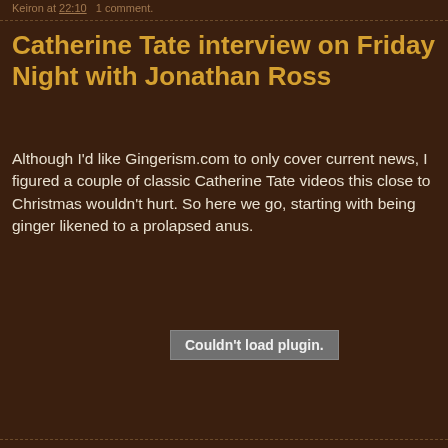Keiron at 22:10   1 comment.
Catherine Tate interview on Friday Night with Jonathan Ross
Although I'd like Gingerism.com to only cover current news, I figured a couple of classic Catherine Tate videos this close to Christmas wouldn't hurt. So here we go, starting with being ginger likened to a prolapsed anus.
[Figure (other): Embedded video plugin area showing 'Couldn't load plugin.' error message]